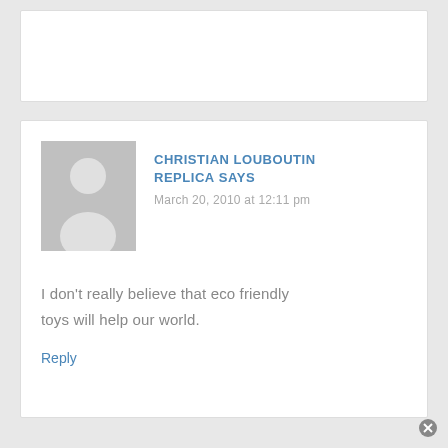[Figure (other): Gray placeholder comment card area at top]
CHRISTIAN LOUBOUTIN REPLICA SAYS
March 20, 2010 at 12:11 pm
[Figure (illustration): Gray silhouette avatar placeholder image]
I don't really believe that eco friendly toys will help our world.
Reply